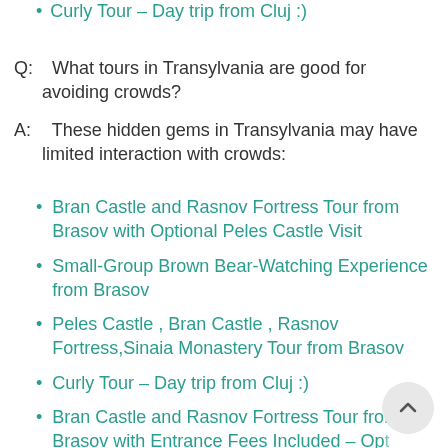Curly Tour - Day trip from Cluj :)
Q:  What tours in Transylvania are good for avoiding crowds?
A:  These hidden gems in Transylvania may have limited interaction with crowds:
Bran Castle and Rasnov Fortress Tour from Brasov with Optional Peles Castle Visit
Small-Group Brown Bear-Watching Experience from Brasov
Peles Castle , Bran Castle , Rasnov Fortress,Sinaia Monastery Tour from Brasov
Curly Tour - Day trip from Cluj :)
Bran Castle and Rasnov Fortress Tour from Brasov with Entrance Fees Included - Opt Peles Castle Visit